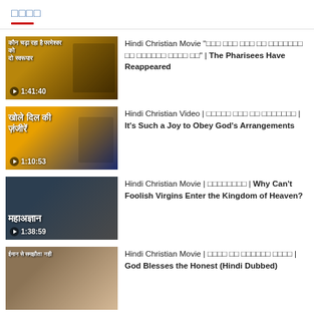□□□□
Hindi Christian Movie "□□□ □□□ □□□ □□ □□□□□□□ □□ □□□□□□ □□□□ □□" | The Pharisees Have Reappeared | 1:41:40
Hindi Christian Video | □□□□□ □□□ □□ □□□□□□□ | It's Such a Joy to Obey God's Arrangements | 1:10:53
Hindi Christian Movie | □□□□□□□□ | Why Can't Foolish Virgins Enter the Kingdom of Heaven? | 1:38:59
Hindi Christian Movie | □□□□ □□ □□□□□□ □□□□ | God Blesses the Honest (Hindi Dubbed)